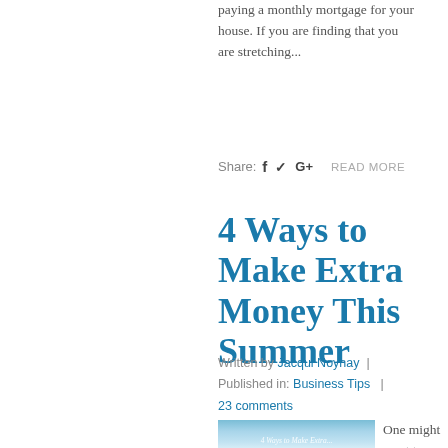paying a monthly mortgage for your house. If you are finding that you are stretching...
Share:  f  ✓  G+    READ MORE
4 Ways to Make Extra Money This Summer
Written by Jacqui Noynay  |  Published in: Business Tips  |  23 comments
[Figure (photo): Sky/clouds image with watermark text '4 Ways to Make Extra...']
One might want to